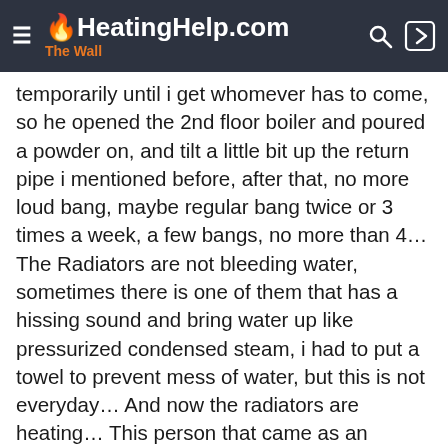HeatingHelp.com The Wall
temporarily until i get whomever has to come, so he opened the 2nd floor boiler and poured a powder on, and tilt a little bit up the return pipe i mentioned before, after that, no more loud bang, maybe regular bang twice or 3 times a week, a few bangs, no more than 4… The Radiators are not bleeding water, sometimes there is one of them that has a hissing sound and bring water up like pressurized condensed steam, i had to put a towel to prevent mess of water, but this is not everyday… And now the radiators are heating… This person that came as an emergency services for NO HEAT told me all the things that was wrong without even me telling the history, he knows the company and said will talk to them… I said i didn't want to throw them under the bus… He also recommended me to have a Inspector to come here, do his job, give me a list of all the fail things and this